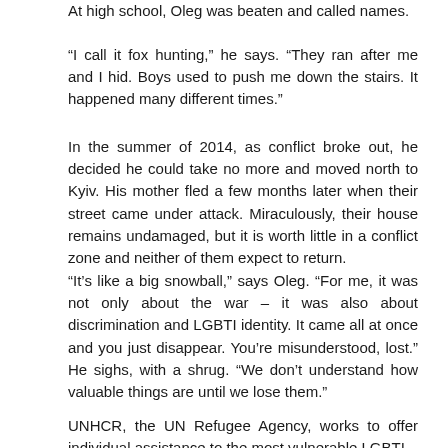At high school, Oleg was beaten and called names.
“I call it fox hunting,” he says. “They ran after me and I hid. Boys used to push me down the stairs. It happened many different times.”
In the summer of 2014, as conflict broke out, he decided he could take no more and moved north to Kyiv. His mother fled a few months later when their street came under attack. Miraculously, their house remains undamaged, but it is worth little in a conflict zone and neither of them expect to return.
“It’s like a big snowball,” says Oleg. “For me, it was not only about the war – it was also about discrimination and LGBTI identity. It came all at once and you just disappear. You’re misunderstood, lost.” He sighs, with a shrug. “We don’t understand how valuable things are until we lose them.”
UNHCR, the UN Refugee Agency, works to offer individual assistance to the most vulnerable LGBTI